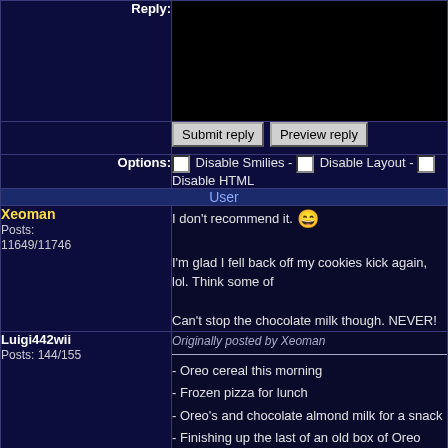Reply:
Submit reply  Preview reply
Options: Disable Smilies - Disable Layout - Disable HTML
User
Xeoman
Posts: 11649/11746
I don't recommend it. 😄

I'm glad I fell back off my cookies kick again, lol. Think some of

Can't stop the chocolate milk though. NEVER!
Luigi442wii
Posts: 144/155
Originally posted by Xeoman
- Oreo cereal this morning
- Frozen pizza for lunch
- Oreo's and chocolate almond milk for a snack
- Finishing up the last of an old box of Oreo cereal for dir